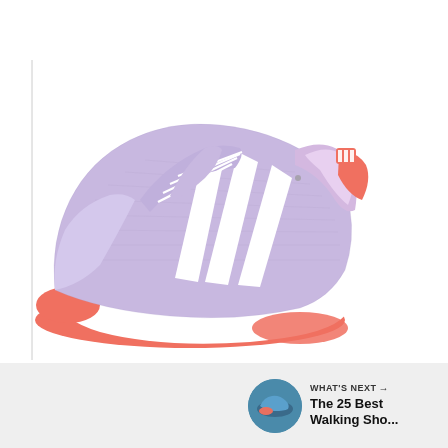[Figure (photo): Adidas CourtJam Bounce tennis/athletic shoe in light lavender/purple color with white three-stripe logo, coral/orange sole accents and heel tab, white midsole, on white background.]
Adidas CourtJam Bounce shoes
[Figure (other): UI element: teal circular heart/favorite button showing count of 1, and a share button below it.]
[Figure (other): WHAT'S NEXT panel showing thumbnail image and text 'The 25 Best Walking Sho...']